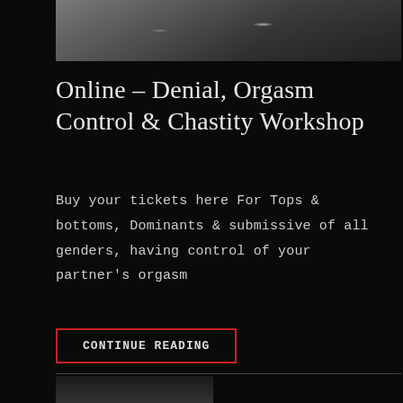[Figure (photo): Dark grayscale close-up photo of metallic mechanical or lock-like objects on a black background, partially visible at top of page]
Online – Denial, Orgasm Control & Chastity Workshop
Buy your tickets here For Tops & bottoms, Dominants & submissive of all genders, having control of your partner's orgasm
CONTINUE READING
[Figure (photo): Partial dark image visible at bottom of page below horizontal divider line]